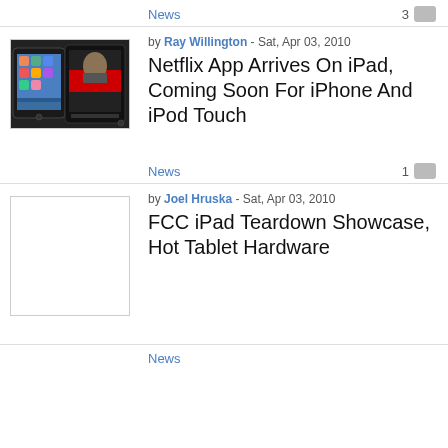News
3
[Figure (photo): Two iPads shown, one displaying home screen icons and another showing a movie/video, dark background]
by Ray Willington - Sat, Apr 03, 2010
Netflix App Arrives On iPad, Coming Soon For iPhone And iPod Touch
News
1
[Figure (photo): Blank/white thumbnail image placeholder]
by Joel Hruska - Sat, Apr 03, 2010
FCC iPad Teardown Showcase, Hot Tablet Hardware
News